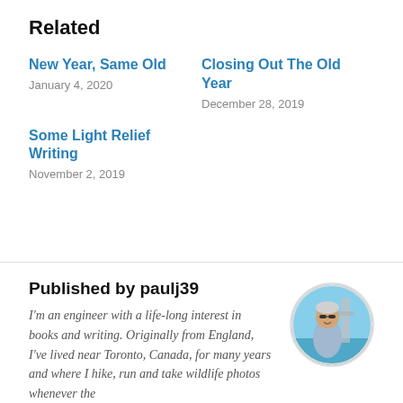Related
New Year, Same Old — January 4, 2020
Closing Out The Old Year — December 28, 2019
Some Light Relief Writing — November 2, 2019
Published by paulj39
I'm an engineer with a life-long interest in books and writing. Originally from England, I've lived near Toronto, Canada, for many years and where I hike, run and take wildlife photos whenever the
[Figure (photo): Circular avatar photo of a person (paulj39) on a boat, wearing sunglasses, with water and blue sky in the background.]